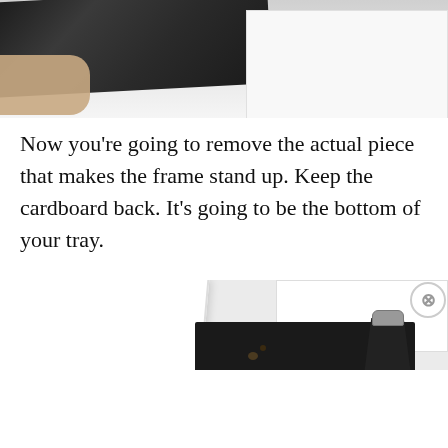[Figure (photo): Close-up photo of a dark phone or pen object on a white surface, with a finger/hand visible at left]
Now you're going to remove the actual piece that makes the frame stand up. Keep the cardboard back. It's going to be the bottom of your tray.
[Figure (photo): Photo showing disassembled picture frame parts: white frame pieces, black cardboard backing, and black stand piece with metal clip, laid on a white surface]
Advertisements
[Figure (photo): Seamless food delivery advertisement banner with pizza image, red Seamless logo, and ORDER NOW button]